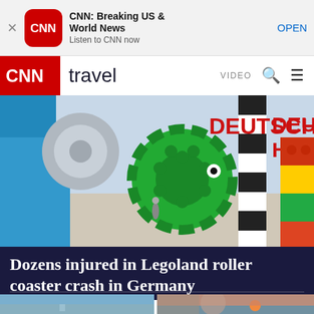[Figure (screenshot): CNN app promotional banner with close X, CNN red icon, title 'CNN: Breaking US & World News', subtitle 'Listen to CNN now', and OPEN button]
CNN travel  VIDEO
[Figure (photo): Photo of Legoland Deutschland entrance with large colorful Lego pieces including green gear, black-and-white striped column, and 'DEUTSCHLAND' sign in red letters]
Dozens injured in Legoland roller coaster crash in Germany
[Figure (photo): Partial thumbnail of Statue of Liberty crown and torch on left, and sunset beach scene on right]